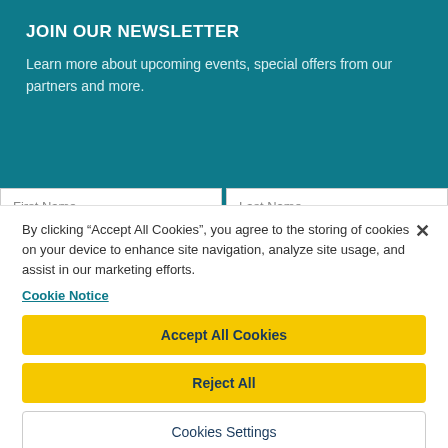JOIN OUR NEWSLETTER
Learn more about upcoming events, special offers from our partners and more.
By clicking “Accept All Cookies”, you agree to the storing of cookies on your device to enhance site navigation, analyze site usage, and assist in our marketing efforts.
Cookie Notice
Accept All Cookies
Reject All
Cookies Settings